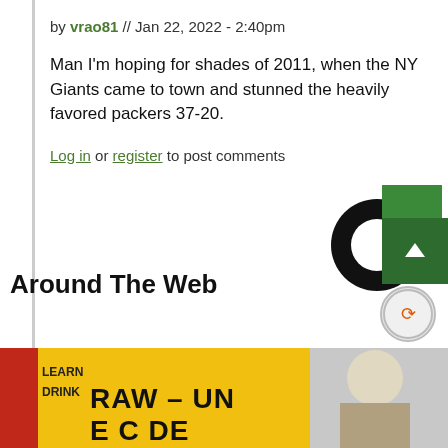by vrao81 // Jan 22, 2022 - 2:40pm
Man I'm hoping for shades of 2011, when the NY Giants came to town and stunned the heavily favored packers 37-20.
Log in or register to post comments
Around The Web
[Figure (logo): Circular donut logo (black ring with green square overlay) and scroll-to-top button]
[Figure (photo): Bottom banner image showing yellow sign with text RAW - UNFILTERED CIDER and a partial image on the right]